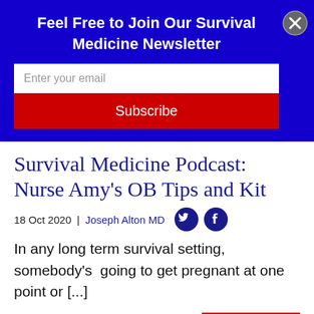Feel Free to Join Our Survival Medicine Newsletter
Enter your email
Subscribe
Survival Medicine Podcast: Nurse Amy's OB Tips and Kit
18 Oct 2020 | Joseph Alton MD
In any long term survival setting, somebody's  going to get pregnant at one point or [...]
Read More